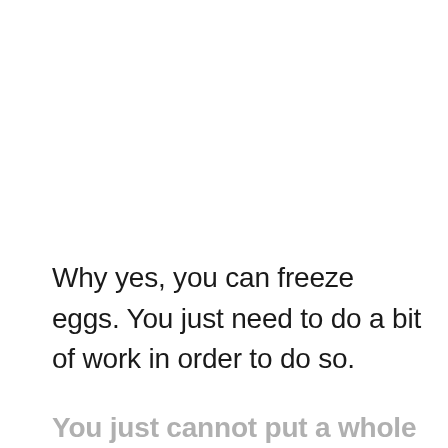Why yes, you can freeze eggs. You just need to do a bit of work in order to do so.
You just cannot put a whole